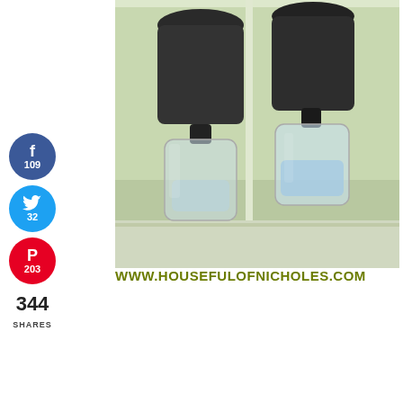[Figure (photo): Two plastic soda bottles inverted and placed inside the bottom halves of other bottles, acting as self-watering planters on a windowsill. The top bottles contain dark soil, and the bottom bottles collect or hold water.]
www.housefulofnicholes.com
[Figure (infographic): Social share buttons: Facebook (f) 109, Twitter bird 32, Pinterest P 203. Total 344 SHARES.]